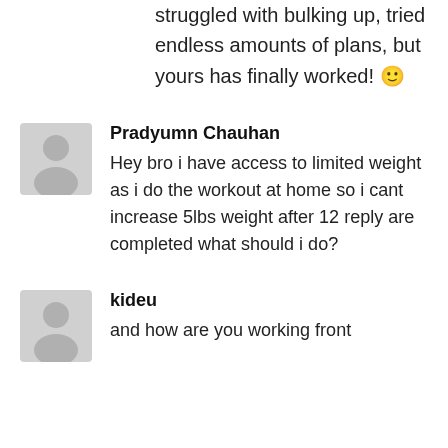struggled with bulking up, tried endless amounts of plans, but yours has finally worked! 🙂
Pradyumn Chauhan
Hey bro i have access to limited weight as i do the workout at home so i cant increase 5lbs weight after 12 reply are completed what should i do?
kideu
and how are you working front